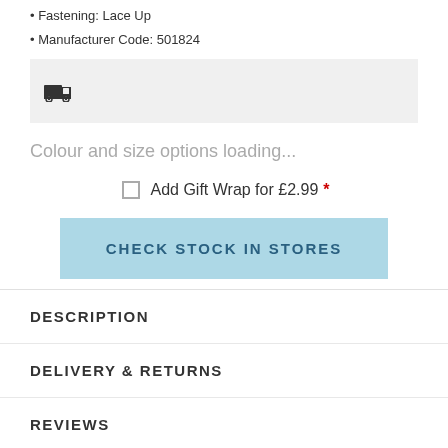• Fastening: Lace Up
• Manufacturer Code: 501824
[Figure (other): Delivery/shipping truck icon inside a light grey box]
Colour and size options loading...
Add Gift Wrap for £2.99 *
CHECK STOCK IN STORES
DESCRIPTION
DELIVERY & RETURNS
REVIEWS